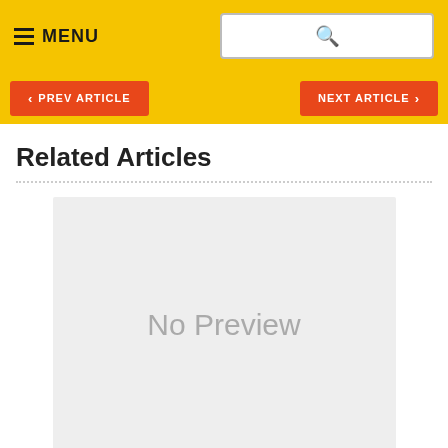MENU
PREV ARTICLE
NEXT ARTICLE
Related Articles
[Figure (other): No Preview placeholder image box]